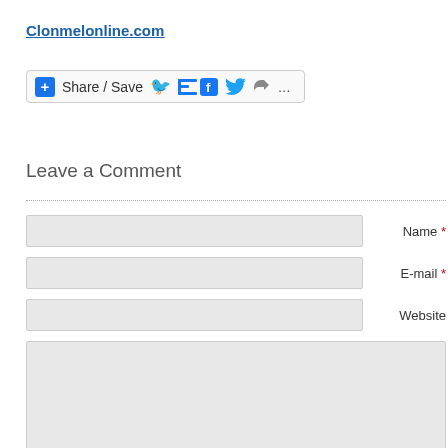Clonmelonline.com
[Figure (screenshot): Share / Save social sharing button bar with Facebook, Twitter, share arrow, and ellipsis icons]
Leave a Comment
Name * [input field]
E-mail * [input field]
Website [input field]
[Comment textarea]